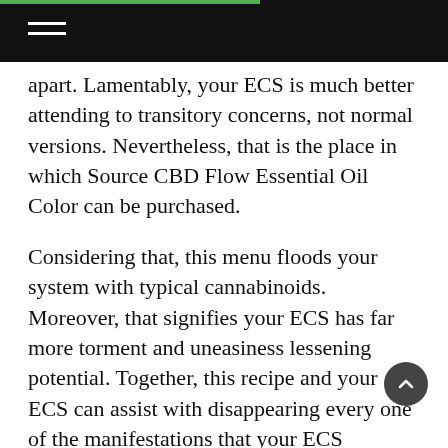apart. Lamentably, your ECS is much better attending to transitory concerns, not normal versions. Nevertheless, that is the place in which Source CBD Flow Essential Oil Color can be purchased.
Considering that, this menu floods your system with typical cannabinoids. Moreover, that signifies your ECS has far more torment and uneasiness lessening potential. Together, this recipe and your ECS can assist with disappearing every one of the manifestations that your ECS typically could deal with all alone if the issue was transitory. Basically, this menu upholds your ECS to ensure